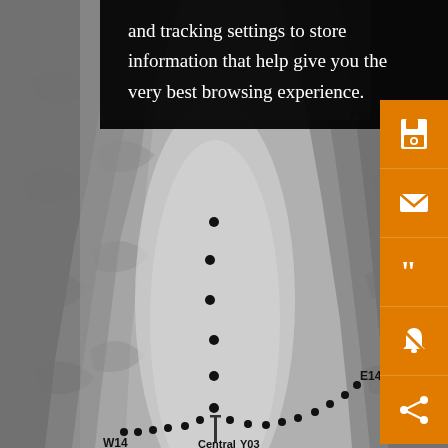[Figure (map): Shaded relief topographic map showing a valley/basin with dotted trail/transect line running north-south through the center. Labels visible: E14, W14, Central, Y03. Mountain ridges on east and west sides. Dots marking survey/measurement points along the central corridor.]
and tracking settings to store information that help give you the very best browsing experience.
[Figure (other): Orange sidebar with icons: save (floppy disk), email (envelope), quote (quotation marks), bookmark/notification (crossed bell), share (share icon).]
Fig.